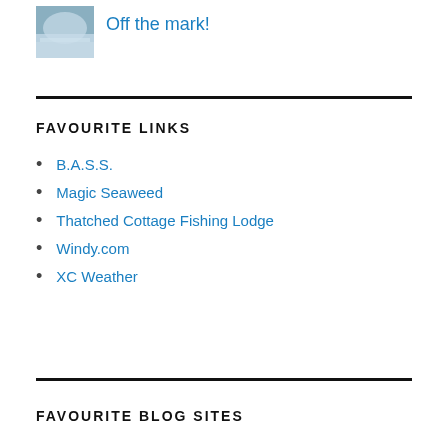[Figure (photo): Small thumbnail image, appears to be a snow or water scene in blue-grey tones]
Off the mark!
FAVOURITE LINKS
B.A.S.S.
Magic Seaweed
Thatched Cottage Fishing Lodge
Windy.com
XC Weather
FAVOURITE BLOG SITES